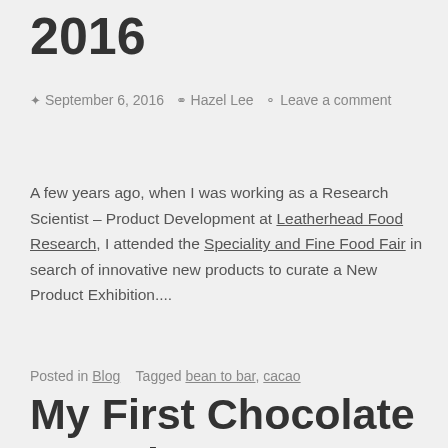2016
✦ September 6, 2016   🧑 Hazel Lee   💬 Leave a comment
A few years ago, when I was working as a Research Scientist – Product Development at Leatherhead Food Research, I attended the Speciality and Fine Food Fair in search of innovative new products to curate a New Product Exhibition....
Posted in Blog   Tagged bean to bar, cacao
My First Chocolate Interview!